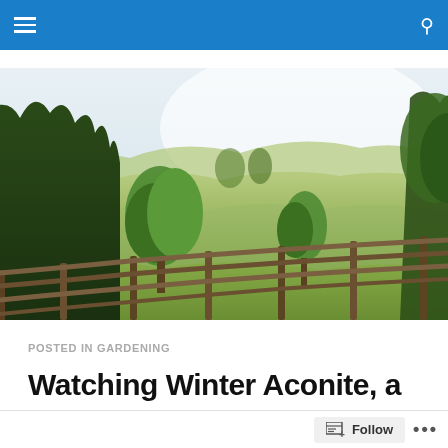[Figure (photo): Outdoor rural landscape photo showing rolling green hills, trees, and a wooden split-rail fence in the foreground under a bright sky.]
POSTED IN GARDENING
Watching Winter Aconite, a Spring Ephemeral